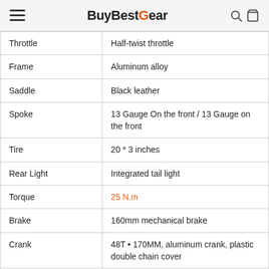BuyBestGear
|  |  |
| --- | --- |
| Throttle | Half-twist throttle |
| Frame | Aluminum alloy |
| Saddle | Black leather |
| Spoke | 13 Gauge On the front / 13 Gauge on the front |
| Tire | 20 * 3 inches |
| Rear Light | Integrated tail light |
| Torque | 25 N.m |
| Brake | 160mm mechanical brake |
| Crank | 48T • 170MM, aluminum crank, plastic double chain cover |
| Suspension | Aluminum shock-absorbing front fork, mechanical lock |
| Pedals | Semi-aluminum folding |